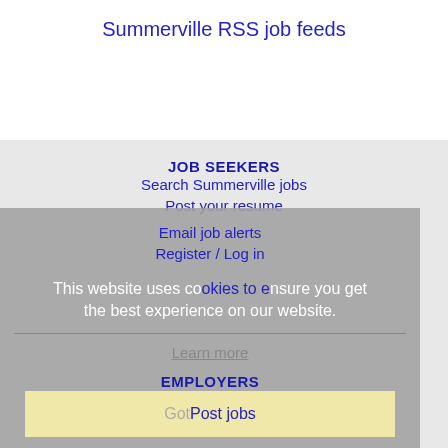Summerville RSS job feeds
JOB SEEKERS
Search Summerville jobs
Post your resume
Email job alerts
Register / Log in
This website uses cookies to ensure you get the best experience on our website.
Learn more
EMPLOYERS
Got Post jobs
Search resumes
Email resume alerts